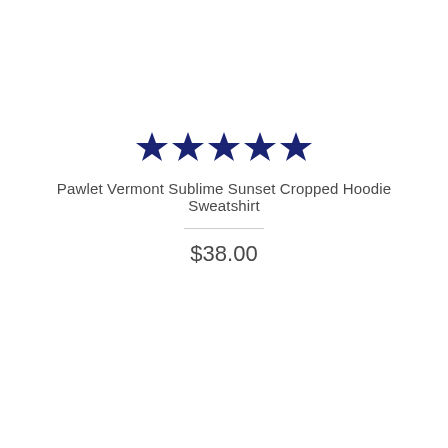[Figure (other): Five dark navy blue filled star icons in a row, representing a 5-star rating]
Pawlet Vermont Sublime Sunset Cropped Hoodie Sweatshirt
$38.00